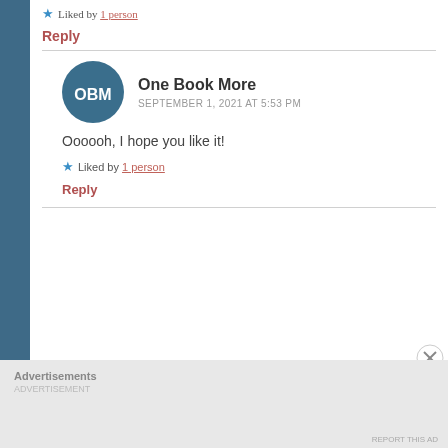★ Liked by 1 person
Reply
One Book More
SEPTEMBER 1, 2021 AT 5:53 PM
Oooooh, I hope you like it!
★ Liked by 1 person
Reply
Advertisements